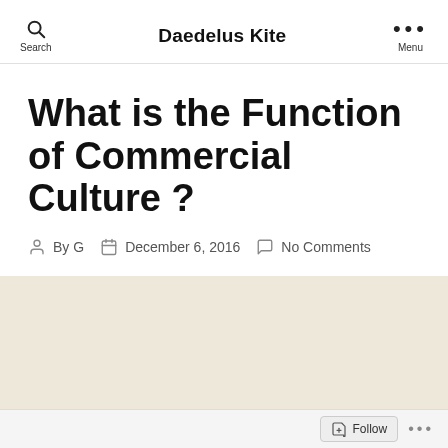Daedelus Kite
What is the Function of Commercial Culture ?
By G   December 6, 2016   No Comments
[Figure (other): Beige/cream colored background content area]
Follow ...